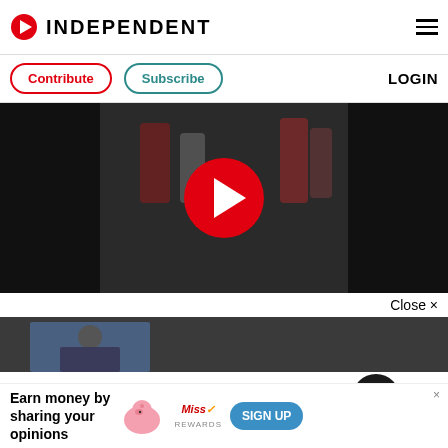INDEPENDENT
[Figure (screenshot): Navigation bar with Contribute and Subscribe buttons and LOGIN text]
[Figure (screenshot): Video player with red play button on dark background showing blurred figures]
Close ×
[Figure (photo): Thumbnail strip showing partial image of person]
[Figure (screenshot): Extras section with yellow background, EXTRAS label, cactus plant, No.21 label, bell notification icon and X close button]
[Figure (screenshot): Advertisement banner: Earn money by sharing your opinions - Miss Rewards SIGN UP]